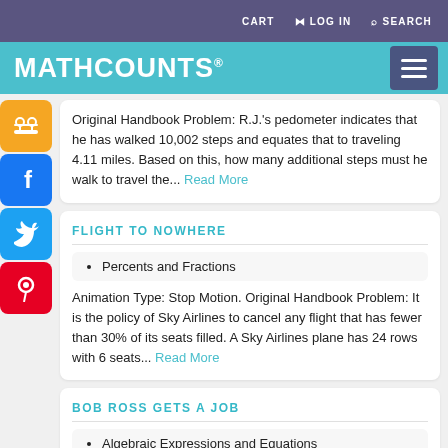CART  LOG IN  SEARCH
MATHCOUNTS®
Original Handbook Problem: R.J.'s pedometer indicates that he has walked 10,002 steps and equates that to traveling 4.11 miles. Based on this, how many additional steps must he walk to travel the...
Read More
FLIGHT TO NOWHERE
Percents and Fractions
Animation Type: Stop Motion. Original Handbook Problem: It is the policy of Sky Airlines to cancel any flight that has fewer than 30% of its seats filled. A Sky Airlines plane has 24 rows with 6 seats...
Read More
BOB ROSS GETS A JOB
Algebraic Expressions and Equations